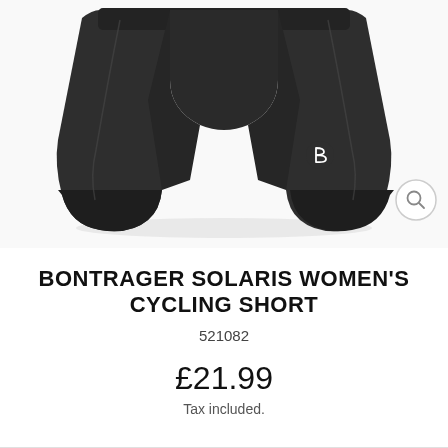[Figure (photo): Black Bontrager Solaris women's cycling shorts shown from front, displayed on white background with small Bontrager logo visible on left leg. A zoom/magnify icon circle is in the bottom-right corner of the image.]
BONTRAGER SOLARIS WOMEN'S CYCLING SHORT
521082
£21.99
Tax included.